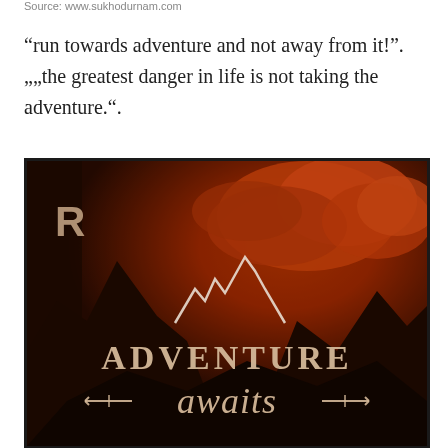Source: www.sukhodurnam.com
“run towards adventure and not away from it!”. „„the greatest danger in life is not taking the adventure.“.
[Figure (illustration): Motivational poster with orange-red sky and dark mountain silhouettes. Text reads 'ADVENTURE awaits' with decorative arrow. Letter R logo in top-left corner.]